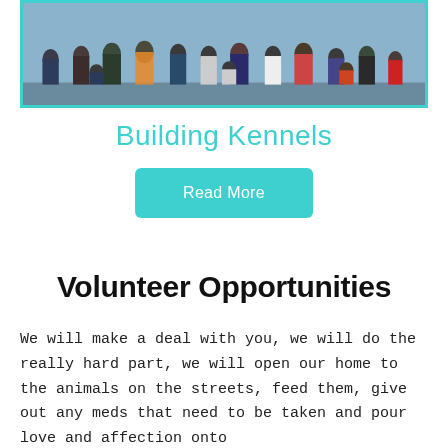[Figure (photo): Group photo of volunteers/people posed together outdoors, framed with a teal border]
Building Kennels
Read More
Volunteer Opportunities
We will make a deal with you, we will do the really hard part, we will open our home to the animals on the streets, feed them, give out any meds that need to be taken and pour love and affection onto